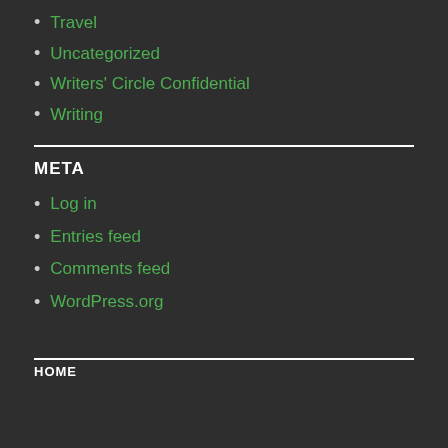Travel
Uncategorized
Writers' Circle Confidential
Writing
META
Log in
Entries feed
Comments feed
WordPress.org